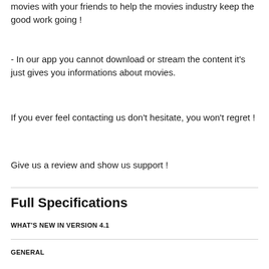movies with your friends to help the movies industry keep the good work going !
- In our app you cannot download or stream the content it's just gives you informations about movies.
If you ever feel contacting us don't hesitate, you won't regret !
Give us a review and show us support !
Full Specifications
WHAT'S NEW IN VERSION 4.1
GENERAL